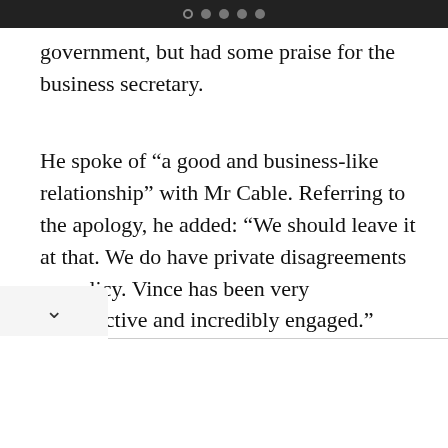● ● ● ●
government, but had some praise for the business secretary.
He spoke of “a good and business-like relationship” with Mr Cable. Referring to the apology, he added: “We should leave it at that. We do have private disagreements on policy. Vince has been very constructive and incredibly engaged.”